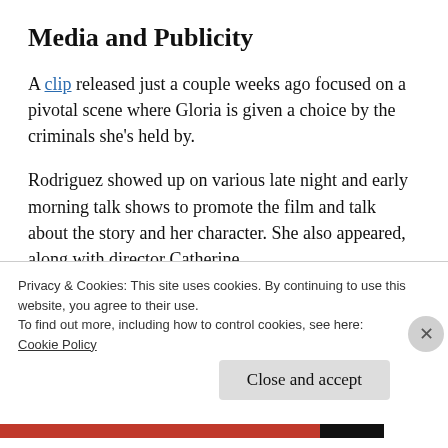Media and Publicity
A clip released just a couple weeks ago focused on a pivotal scene where Gloria is given a choice by the criminals she’s held by.
Rodriguez showed up on various late night and early morning talk shows to promote the film and talk about the story and her character. She also appeared, along with director Catherine Hardwicke and others, at a special screening
Privacy & Cookies: This site uses cookies. By continuing to use this website, you agree to their use.
To find out more, including how to control cookies, see here:
Cookie Policy
Close and accept